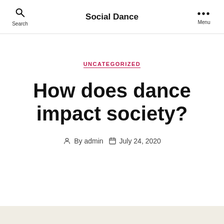Social Dance
UNCATEGORIZED
How does dance impact society?
By admin   July 24, 2020